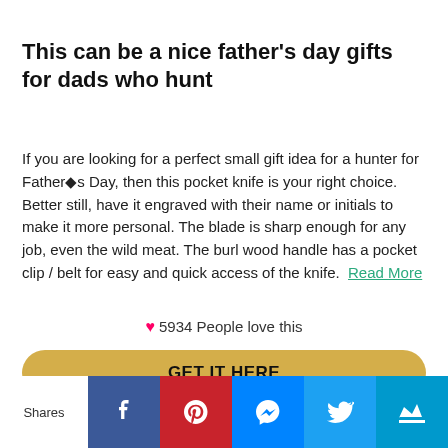This can be a nice father's day gifts for dads who hunt
If you are looking for a perfect small gift idea for a hunter for Father◆s Day, then this pocket knife is your right choice. Better still, have it engraved with their name or initials to make it more personal. The blade is sharp enough for any job, even the wild meat. The burl wood handle has a pocket clip / belt for easy and quick access of the knife. Read More
5934 People love this
GET IT HERE
[Figure (infographic): Social sharing bar with Facebook, Pinterest, Messenger, Twitter, and crown icon buttons]